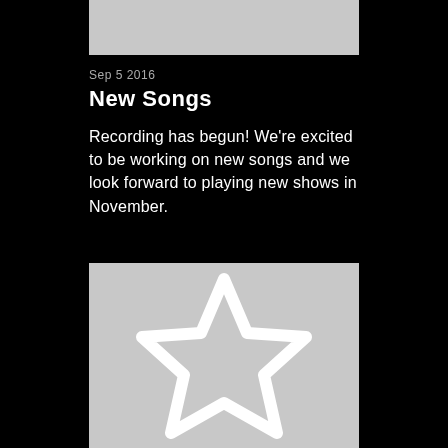[Figure (other): Gray placeholder image at top of page]
Sep 5 2016
New Songs
Recording has begun! We're excited to be working on new songs and we look forward to playing new shows in November.
[Figure (illustration): Gray placeholder image with a white star outline icon in the center]